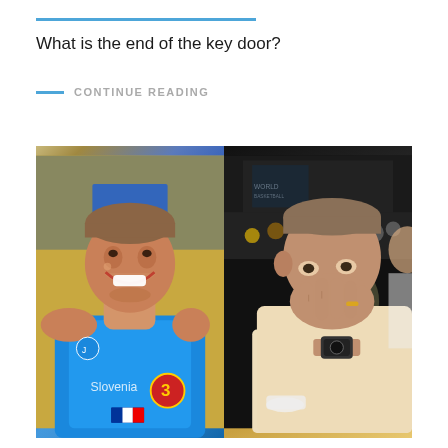What is the end of the key door?
CONTINUE READING
[Figure (photo): Split photo: left side shows a young male basketball player in a blue Slovenia national team jersey laughing/smiling; right side shows an older man in a cream shirt covering his nose/mouth with his hand at what appears to be a basketball arena event.]